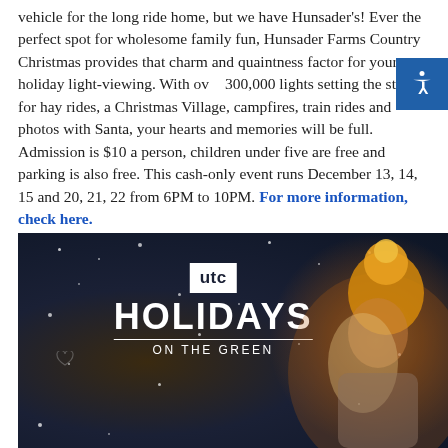vehicle for the long ride home, but we have Hunsader's! Ever the perfect spot for wholesome family fun, Hunsader Farms Country Christmas provides that charm and quaintness factor for your holiday light-viewing. With over 300,000 lights setting the stage for hay rides, a Christmas Village, campfires, train rides and photos with Santa, your hearts and memories will be full. Admission is $10 a person, children under five are free and parking is also free. This cash-only event runs December 13, 14, 15 and 20, 21, 22 from 6PM to 10PM. For more information, check here.
[Figure (illustration): UTC Holidays on the Green advertisement banner featuring a girl in a yellow winter hat looking up at falling snow against a dark blue night sky background, with the UTC logo and text 'HOLIDAYS ON THE GREEN']